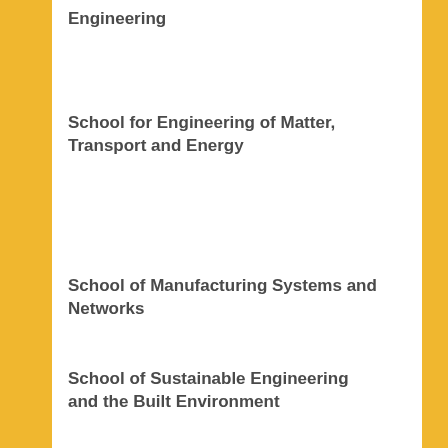Engineering
School for Engineering of Matter, Transport and Energy
School of Manufacturing Systems and Networks
School of Sustainable Engineering and the Built Environment
The Polytechnic School
ASU ENGINEERING ON FACEBOOK